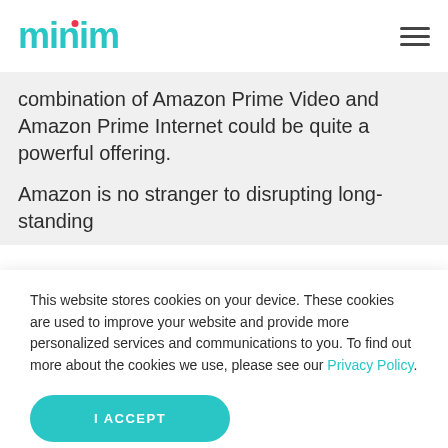minim
combination of Amazon Prime Video and Amazon Prime Internet could be quite a powerful offering.
Amazon is no stranger to disrupting long-standing
This website stores cookies on your device. These cookies are used to improve your website and provide more personalized services and communications to you. To find out more about the cookies we use, please see our Privacy Policy.
I ACCEPT
I DECLINE